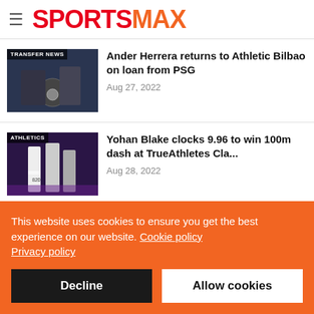SPORTSMAX
Ander Herrera returns to Athletic Bilbao on loan from PSG
Aug 27, 2022
Yohan Blake clocks 9.96 to win 100m dash at TrueAthletes Cla...
Aug 28, 2022
This website uses cookies to ensure you get the best experience on our website. Cookie policy Privacy policy
Decline
Allow cookies